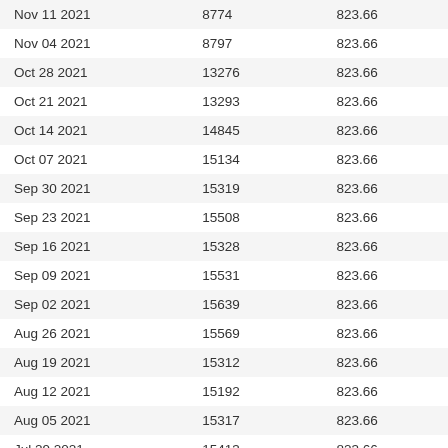| Nov 11 2021 | 8774 | 823.66 |
| Nov 04 2021 | 8797 | 823.66 |
| Oct 28 2021 | 13276 | 823.66 |
| Oct 21 2021 | 13293 | 823.66 |
| Oct 14 2021 | 14845 | 823.66 |
| Oct 07 2021 | 15134 | 823.66 |
| Sep 30 2021 | 15319 | 823.66 |
| Sep 23 2021 | 15508 | 823.66 |
| Sep 16 2021 | 15328 | 823.66 |
| Sep 09 2021 | 15531 | 823.66 |
| Sep 02 2021 | 15639 | 823.66 |
| Aug 26 2021 | 15569 | 823.66 |
| Aug 19 2021 | 15312 | 823.66 |
| Aug 12 2021 | 15192 | 823.66 |
| Aug 05 2021 | 15317 | 823.66 |
| Jul 29 2021 | 15413 | 823.66 |
| Jul 22 2021 | 15793 | 823.66 |